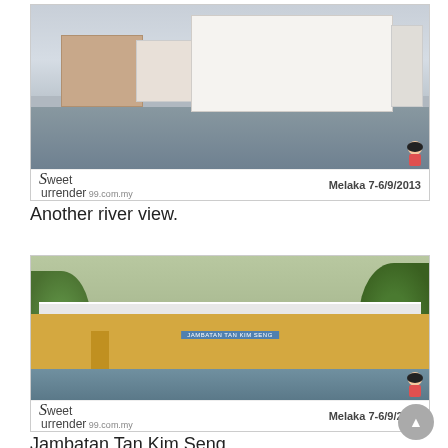[Figure (photo): River view photograph showing white colonial-style building across a river, with watermark 'Sweet Surrender 99.com.my' and date 'Melaka 7-6/9/2013']
Another river view.
[Figure (photo): Photograph of Jambatan Tan Kim Seng bridge over a river, yellow bridge structure with decorative white railings, watermark 'Sweet Surrender 99.com.my' and date 'Melaka 7-6/9/2013']
Jambatan Tan Kim Seng.